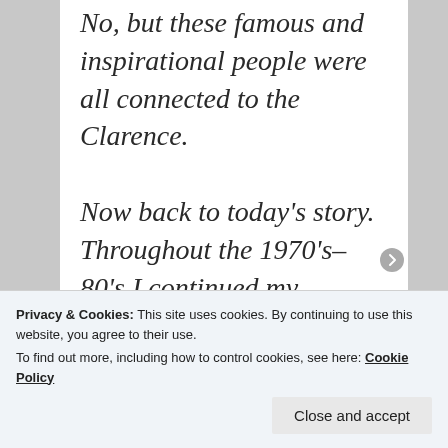No, but these famous and inspirational people were all connected to the Clarence.

Now back to today's story. Throughout the 1970's-80's I continued my research into my
Privacy & Cookies: This site uses cookies. By continuing to use this website, you agree to their use.
To find out more, including how to control cookies, see here: Cookie Policy